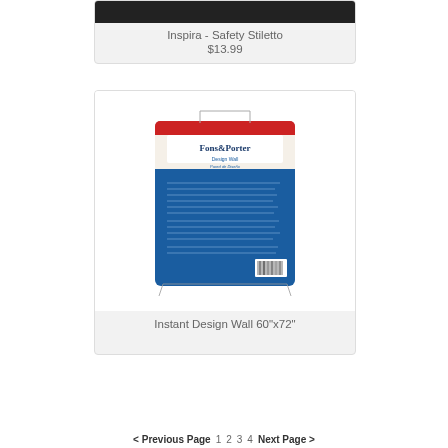Inspira - Safety Stiletto
$13.99
[Figure (photo): Product image of Fons & Porter Instant Design Wall package, showing blue and white packaging with red accent, back of the package with text]
Instant Design Wall 60"x72"
< Previous Page   1   2   3   4   Next Page >